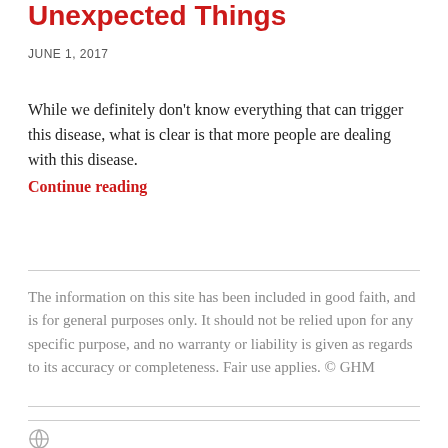Unexpected Things
JUNE 1, 2017
While we definitely don't know everything that can trigger this disease, what is clear is that more people are dealing with this disease. Continue reading
The information on this site has been included in good faith, and is for general purposes only. It should not be relied upon for any specific purpose, and no warranty or liability is given as regards to its accuracy or completeness. Fair use applies. © GHM